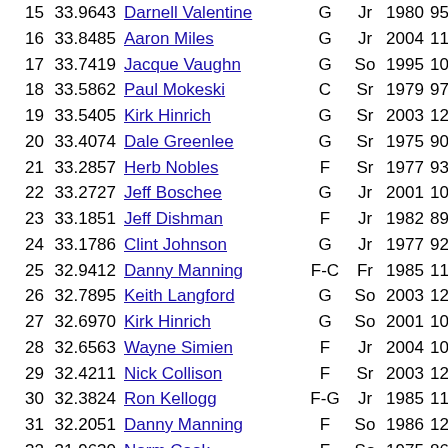| # | Score | Name | Pos | Yr | Season |  |
| --- | --- | --- | --- | --- | --- | --- |
| 15 | 33.9643 | Darnell Valentine | G | Jr | 1980 | 95 |
| 16 | 33.8485 | Aaron Miles | G | Jr | 2004 | 11 |
| 17 | 33.7419 | Jacque Vaughn | G | So | 1995 | 104 |
| 18 | 33.5862 | Paul Mokeski | C | Sr | 1979 | 97 |
| 19 | 33.5405 | Kirk Hinrich | G | Sr | 2003 | 124 |
| 20 | 33.4074 | Dale Greenlee | G | Sr | 1975 | 90 |
| 21 | 33.2857 | Herb Nobles | F | Sr | 1977 | 93 |
| 22 | 33.2727 | Jeff Boschee | G | Jr | 2001 | 109 |
| 23 | 33.1851 | Jeff Dishman | F | Jr | 1982 | 89 |
| 24 | 33.1786 | Clint Johnson | G | Jr | 1977 | 92 |
| 25 | 32.9412 | Danny Manning | F-C | Fr | 1985 | 112 |
| 26 | 32.7895 | Keith Langford | G | So | 2003 | 124 |
| 27 | 32.6970 | Kirk Hinrich | G | So | 2001 | 107 |
| 28 | 32.6563 | Wayne Simien | F | Jr | 2004 | 104 |
| 29 | 32.4211 | Nick Collison | F | Sr | 2003 | 123 |
| 30 | 32.3824 | Ron Kellogg | F-G | Jr | 1985 | 110 |
| 31 | 32.2051 | Danny Manning | F | So | 1986 | 125 |
| 32 | 31.9630 | Norm Cook | F | So | 1975 | 86 |
| 33 | 31.9143 | Steve Woodberry | G-F | Sr | 1994 | 113 |
| 34 | 31.7059 | Jacque Vaughn | G | Jr | 1996 | 107 |